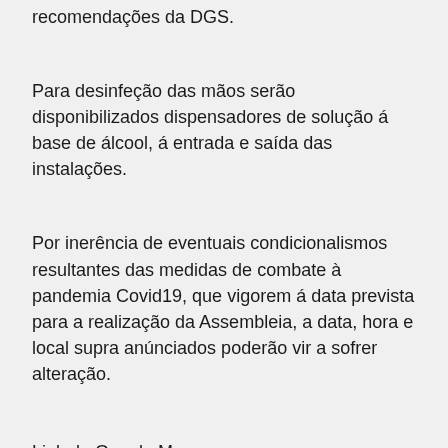recomendações da DGS.
Para desinfeção das mãos serão disponibilizados dispensadores de solução á base de álcool, á entrada e saída das instalações.
Por inerência de eventuais condicionalismos resultantes das medidas de combate à pandemia Covid19, que vigorem á data prevista para a realização da Assembleia, a data, hora e local supra anúnciados poderão vir a sofrer alteração.
Link do Google Maps;